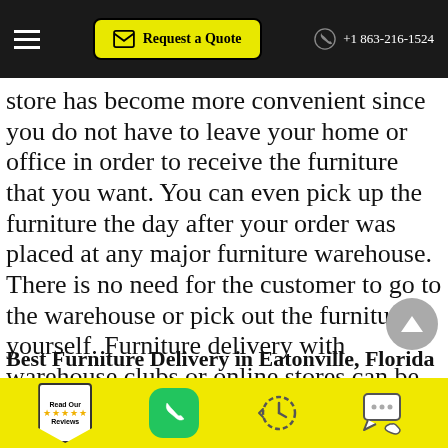Request a Quote | +1 863-216-1524
store has become more convenient since you do not have to leave your home or office in order to receive the furniture that you want. You can even pick up the furniture the day after your order was placed at any major furniture warehouse. There is no need for the customer to go to the warehouse or pick out the furniture yourself. Furniture delivery with warehouse clubs or online stores can be done the same day that the order was placed.
Best Furniture Delivery in Eatonville, Florida
Read Our Reviews | Phone | History | Chat